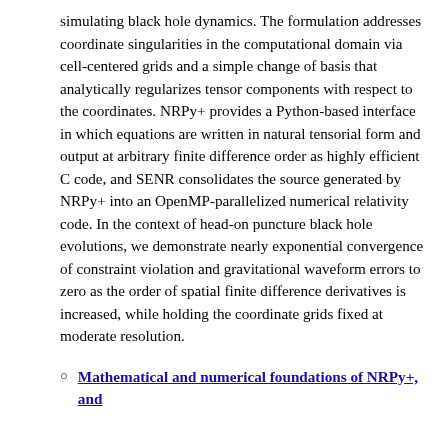simulating black hole dynamics. The formulation addresses coordinate singularities in the computational domain via cell-centered grids and a simple change of basis that analytically regularizes tensor components with respect to the coordinates. NRPy+ provides a Python-based interface in which equations are written in natural tensorial form and output at arbitrary finite difference order as highly efficient C code, and SENR consolidates the source generated by NRPy+ into an OpenMP-parallelized numerical relativity code. In the context of head-on puncture black hole evolutions, we demonstrate nearly exponential convergence of constraint violation and gravitational waveform errors to zero as the order of spatial finite difference derivatives is increased, while holding the coordinate grids fixed at moderate resolution.
Mathematical and numerical foundations of NRPy+, and